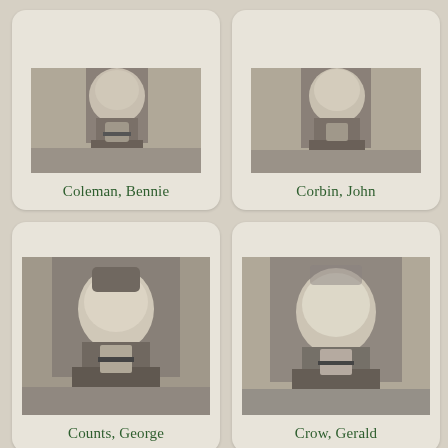[Figure (photo): Black and white military portrait photo of Coleman, Bennie]
Coleman, Bennie
[Figure (photo): Black and white military portrait photo of Corbin, John]
Corbin, John
[Figure (photo): Black and white military portrait photo of Counts, George]
Counts, George
[Figure (photo): Black and white military portrait photo of Crow, Gerald]
Crow, Gerald
[Figure (photo): Black and white military portrait photo, partially visible, bottom left]
[Figure (photo): Black and white military portrait photo, partially visible, bottom right]